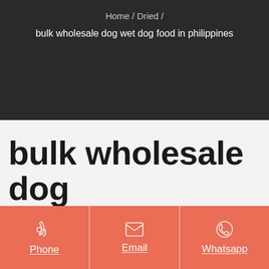Home / Dried /
bulk wholesale dog wet dog food in philippines
bulk wholesale dog wet dog food in
Phone | Email | Whatsapp